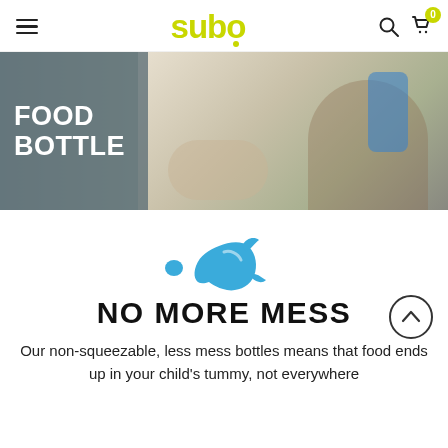subo
[Figure (photo): Hero banner showing a baby sitting with an adult holding a blue food bottle. Text overlay on left reads FOOD BOTTLE on a grey background.]
FOOD BOTTLE
[Figure (illustration): Blue splash/splat icon graphic]
NO MORE MESS
Our non-squeezable, less mess bottles means that food ends up in your child's tummy, not everywhere